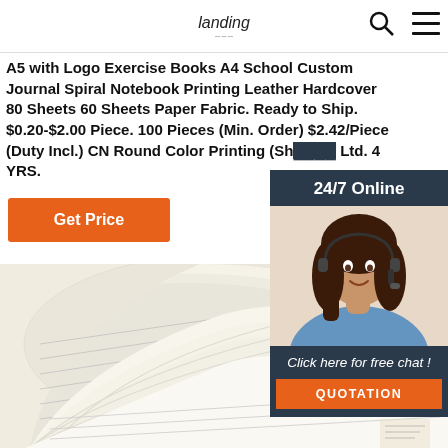Landing [logo] | Search | Menu
A5 with Logo Exercise Books A4 School Custom Journal Spiral Notebook Printing Leather Hardcover 80 Sheets 60 Sheets Paper Fabric. Ready to Ship. $0.20-$2.00 Piece. 100 Pieces (Min. Order) $2.42/Piece (Duty Incl.) CN Round Color Printing (Sh... Ltd. 4 YRS.
Get Price
[Figure (photo): Customer support chat widget showing a woman with headset, 24/7 Online banner, 'Click here for free chat!' text, and QUOTATION button]
[Figure (photo): Close-up photo of open notebook pages fanned out showing ruled lines, cream/white paper]